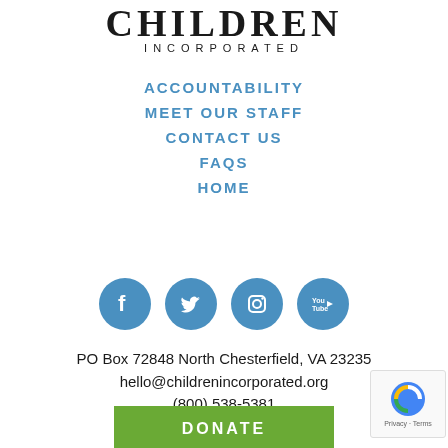CHILDREN INCORPORATED
ACCOUNTABILITY
MEET OUR STAFF
CONTACT US
FAQS
HOME
[Figure (illustration): Four circular social media icons: Facebook, Twitter, Instagram, YouTube — each on a blue circle background]
PO Box 72848 North Chesterfield, VA 23235
hello@childrenincorporated.org
(800) 538-5381
DONATE